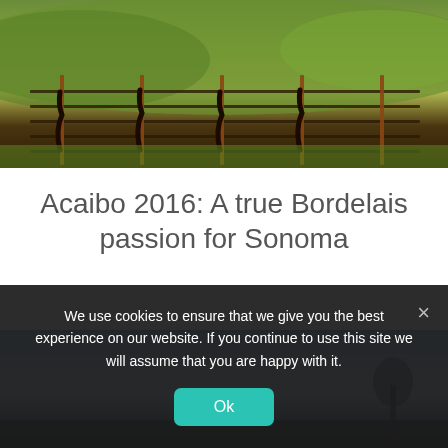[Figure (photo): Vineyard rows with gnarled vines in the foreground, green rolling hills in the background lit by warm golden light]
Acaibo 2016: A true Bordelais passion for Sonoma
[Figure (photo): Misty vineyard landscape at dusk or dawn with a lone tree silhouette against a blue-grey sky]
We use cookies to ensure that we give you the best experience on our website. If you continue to use this site we will assume that you are happy with it.